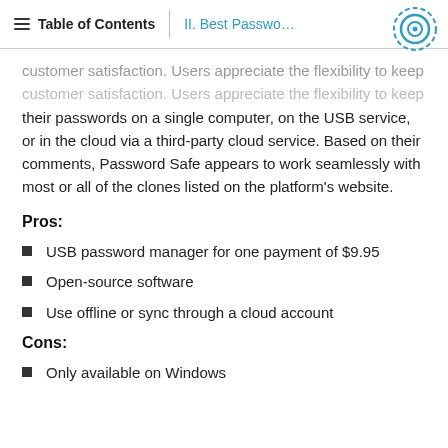Table of Contents | II. Best Passwo...
customer satisfaction. Users appreciate the flexibility to keep their passwords on a single computer, on the USB service, or in the cloud via a third-party cloud service. Based on their comments, Password Safe appears to work seamlessly with most or all of the clones listed on the platform's website.
Pros:
USB password manager for one payment of $9.95
Open-source software
Use offline or sync through a cloud account
Cons:
Only available on Windows